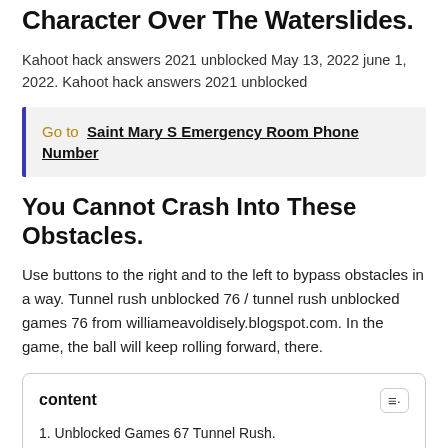Character Over The Waterslides.
Kahoot hack answers 2021 unblocked May 13, 2022 june 1, 2022. Kahoot hack answers 2021 unblocked
Go to Saint Mary S Emergency Room Phone Number
You Cannot Crash Into These Obstacles.
Use buttons to the right and to the left to bypass obstacles in a way. Tunnel rush unblocked 76 / tunnel rush unblocked games 76 from williameavoldisely.blogspot.com. In the game, the ball will keep rolling forward, there.
1. Unblocked Games 67 Tunnel Rush.
2. Unblocked Games 67 Tunnel Rush Play Uphill Rush 8 Unblocked At Y9 Games.
3. Use Buttons To The Right And To The Left To Bypass Obstacles In A